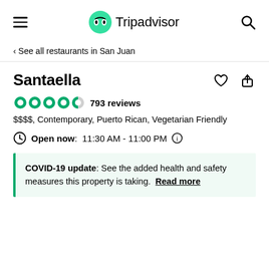Tripadvisor
< See all restaurants in San Juan
Santaella
793 reviews
$$$$, Contemporary, Puerto Rican, Vegetarian Friendly
Open now: 11:30 AM - 11:00 PM
COVID-19 update: See the added health and safety measures this property is taking. Read more